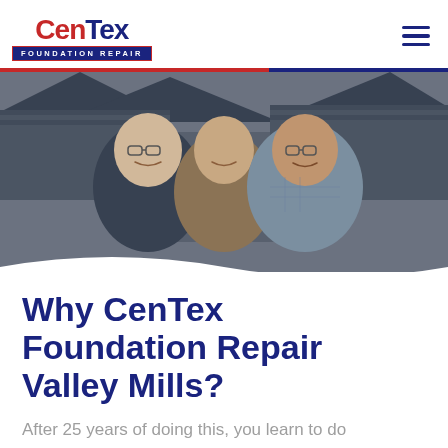[Figure (logo): CenTex Foundation Repair logo — bold blue text with red accents and a banner underneath reading FOUNDATION REPAIR]
[Figure (photo): Three smiling men standing in front of a house with dark roof shingles. Left man wearing glasses and dark shirt, center man in tan shirt, right man wearing glasses and blue plaid shirt.]
Why CenTex Foundation Repair Valley Mills?
After 25 years of doing this, you learn to do